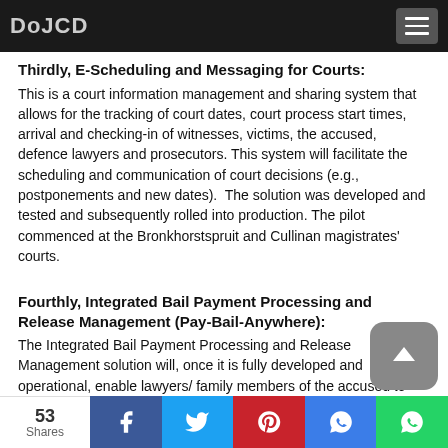DoJCD
Thirdly, E-Scheduling and Messaging for Courts:
This is a court information management and sharing system that allows for the tracking of court dates, court process start times, arrival and checking-in of witnesses, victims, the accused, defence lawyers and prosecutors. This system will facilitate the scheduling and communication of court decisions (e.g., postponements and new dates).  The solution was developed and tested and subsequently rolled into production. The pilot commenced at the Bronkhorstspruit and Cullinan magistrates' courts.
Fourthly, Integrated Bail Payment Processing and Release Management (Pay-Bail-Anywhere):
The Integrated Bail Payment Processing and Release Management solution will, once it is fully developed and operational, enable lawyers/ family members of the accused to "pay bail anywhere".
53 Shares